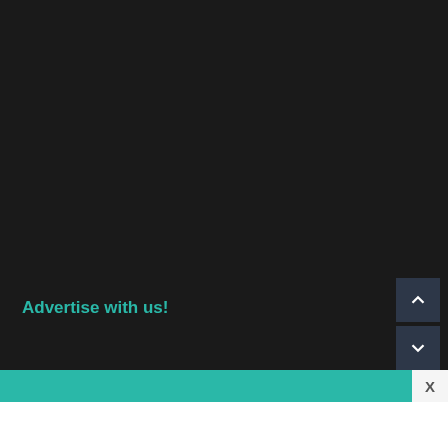Messages: 4,566,133
Members: 120,615
Latest member: chickenoodle
Share this page
[Figure (infographic): Social share icons: Facebook, Twitter, Reddit, Pinterest, WhatsApp, Email, Link]
Advertise with us!
[Figure (other): Navigation up/down arrow buttons]
[Figure (other): Teal advertisement bar with X close button]